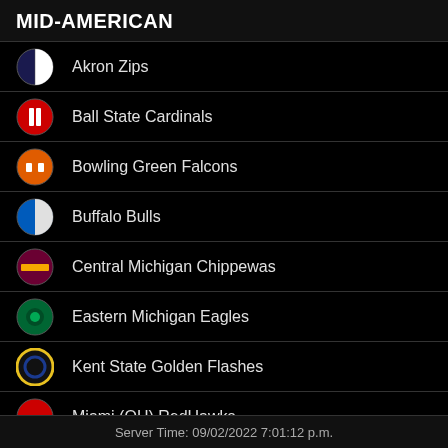MID-AMERICAN
Akron Zips
Ball State Cardinals
Bowling Green Falcons
Buffalo Bulls
Central Michigan Chippewas
Eastern Michigan Eagles
Kent State Golden Flashes
Miami (OH) RedHawks
Server Time: 09/02/2022 7:01:12 p.m.